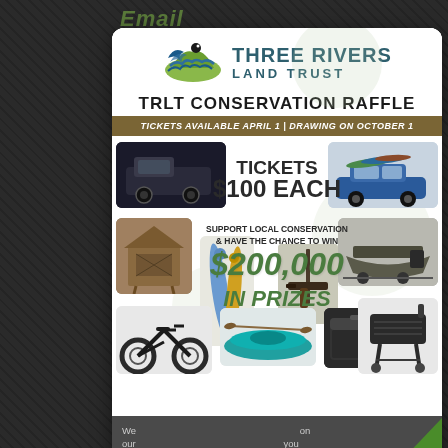Email
[Figure (infographic): Three Rivers Land Trust TRLT Conservation Raffle promotional flyer. Shows logo, raffle details, prize vehicles, outdoor gear, and products. Text: TRLT CONSERVATION RAFFLE, TICKETS AVAILABLE APRIL 1 | DRAWING ON OCTOBER 1, TICKETS $100 EACH, SUPPORT LOCAL CONSERVATION & HAVE THE CHANCE TO WIN $200,000 IN PRIZES]
We ... on our ... you
BUY TICKETS HERE
RAFFLE